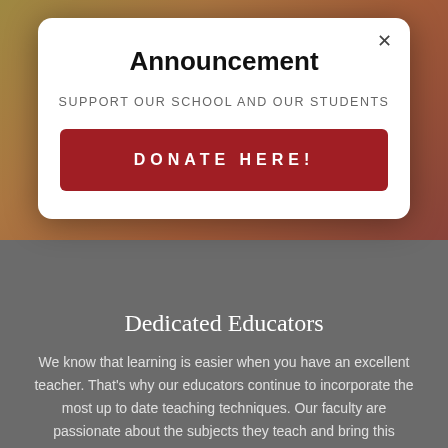[Figure (screenshot): School announcement modal popup over a blurred/dimmed background showing colorful classroom image. Modal contains title 'Announcement', subtitle 'SUPPORT OUR SCHOOL AND OUR STUDENTS', and a red donate button.]
Announcement
SUPPORT OUR SCHOOL AND OUR STUDENTS
DONATE HERE!
Dedicated Educators
We know that learning is easier when you have an excellent teacher. That's why our educators continue to incorporate the most up to date teaching techniques. Our faculty are passionate about the subjects they teach and bring this enthusiasm into their lessons.